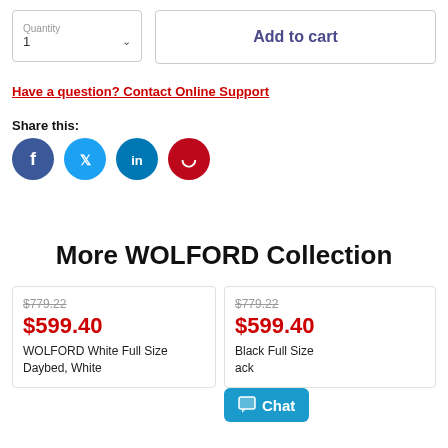Quantity
1
Add to cart
Have a question? Contact Online Support
Share this:
[Figure (infographic): Social media share icons: Facebook (blue circle), Twitter (light blue circle), LinkedIn (teal circle), Pinterest (dark red circle)]
More WOLFORD Collection
$779.22
$599.40
WOLFORD White Full Size Daybed, White
$779.22
$599.40
Black Full Size
ack